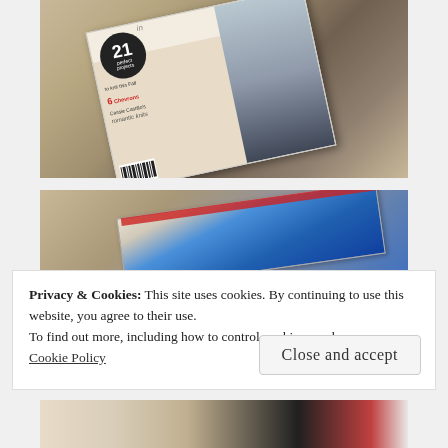[Figure (photo): A knitting magazine titled 'in scene' lying on a wooden surface. The cover shows a woman wearing a grey knit cardigan. Text on cover includes '21 perfect projects to knit this Fall', '6 Chevrons', 'Cassie Castillo's romantic knits', 'PLUS'.]
[Figure (photo): A partial view of a book or magazine with a blue cover on a wooden surface.]
Privacy & Cookies: This site uses cookies. By continuing to use this website, you agree to their use.
To find out more, including how to control cookies, see here:
Cookie Policy
Close and accept
[Figure (photo): Partial view of open book pages and another item at the bottom of the page.]